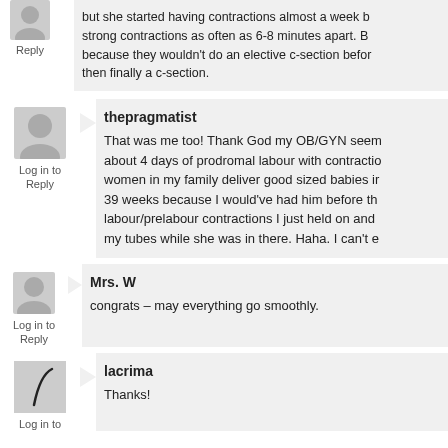but she started having contractions almost a week before and strong contractions as often as 6-8 minutes apart. Because they wouldn't do an elective c-section before then finally a c-section.
Log in to Reply
thepragmatist
That was me too! Thank God my OB/GYN seemed about 4 days of prodromal labour with contractions women in my family deliver good sized babies in 39 weeks because I would've had him before the labour/prelabour contractions I just held on and my tubes while she was in there. Haha. I can't e
Log in to Reply
Mrs. W
congrats – may everything go smoothly.
Log in to Reply
lacrima
Thanks!
Log in to